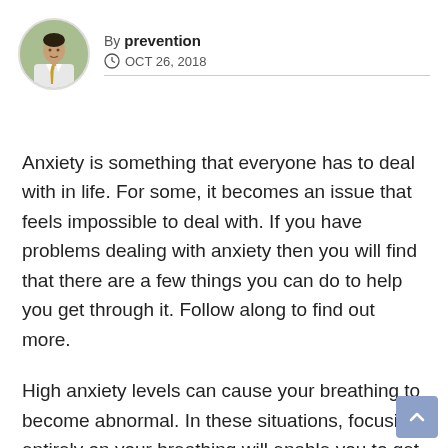By prevention | OCT 26, 2018
Anxiety is something that everyone has to deal with in life. For some, it becomes an issue that feels impossible to deal with. If you have problems dealing with anxiety then you will find that there are a few things you can do to help you get through it. Follow along to find out more.
High anxiety levels can cause your breathing to become abnormal. In these situations, focusing entirely on your breathing will enable you to get